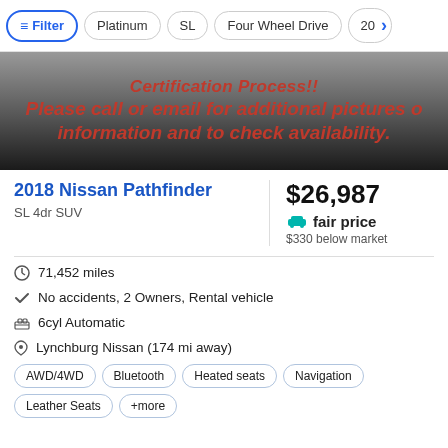Filter | Platinum | SL | Four Wheel Drive | 20>
[Figure (photo): Car listing banner with red bold text on dark gradient background: 'Certification Process!! Please call or email for additional pictures or information and to check availability.']
2018 Nissan Pathfinder
SL 4dr SUV
$26,987
fair price
$330 below market
71,452 miles
No accidents, 2 Owners, Rental vehicle
6cyl Automatic
Lynchburg Nissan (174 mi away)
AWD/4WD  Bluetooth  Heated seats  Navigation  Leather Seats  +more